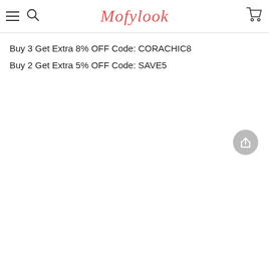Mofylook
Buy 3 Get Extra 8% OFF Code: CORACHIC8
Buy 2 Get Extra 5% OFF Code: SAVE5